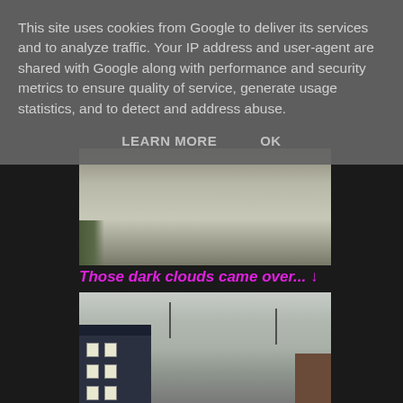This site uses cookies from Google to deliver its services and to analyze traffic. Your IP address and user-agent are shared with Google along with performance and security metrics to ensure quality of service, generate usage statistics, and to detect and address abuse.
LEARN MORE    OK
[Figure (photo): Outdoor photo showing a paved ground surface with some green plants/weeds visible in the lower-left corner, against a dark background.]
Those dark clouds came over... ↓
[Figure (photo): Outdoor street photo showing overcast sky with dark clouds, a multi-storey white building on the left, utility poles, and a brick building on the right.]